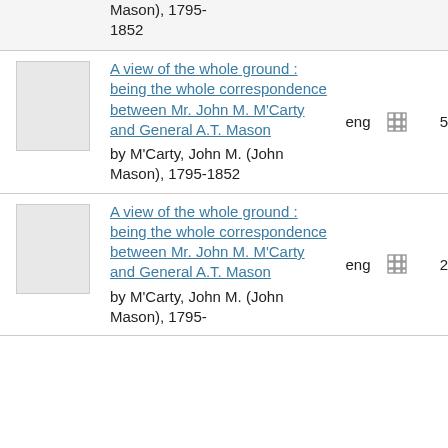| thumbnail | title/author | lang | format | copies | code1 | code2 |
| --- | --- | --- | --- | --- | --- | --- |
| [image] | A view of the whole ground : being the whole correspondence between Mr. John M. M'Carty and General A.T. Mason
by M'Carty, John M. (John Mason), 1795-1852 | eng | [grid icon] | 5 | 050 | AS3... |
| [image] | A view of the whole ground : being the whole correspondence between Mr. John M. M'Carty and General A.T. Mason
by M'Carty, John M. (John Mason), 1795- | eng | [grid icon] | 2 | 050 | E302... |